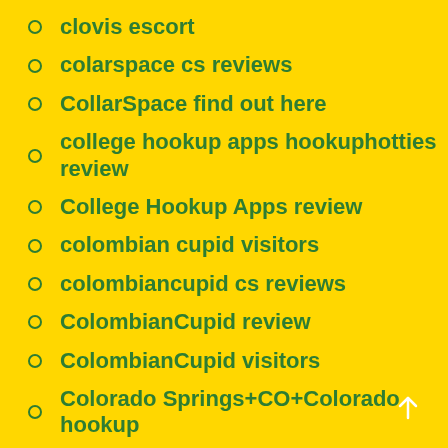clovis escort
colarspace cs reviews
CollarSpace find out here
college hookup apps hookuphotties review
College Hookup Apps review
colombian cupid visitors
colombiancupid cs reviews
ColombianCupid review
ColombianCupid visitors
Colorado Springs+CO+Colorado hookup
Compatible Partners visitors